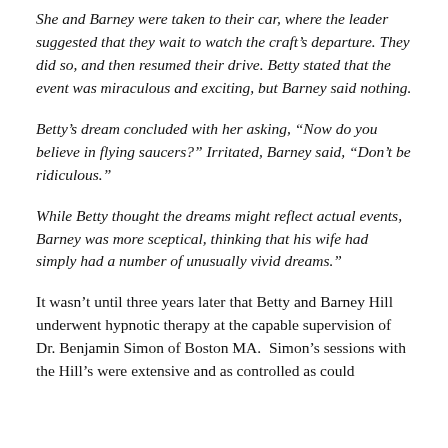She and Barney were taken to their car, where the leader suggested that they wait to watch the craft’s departure. They did so, and then resumed their drive. Betty stated that the event was miraculous and exciting, but Barney said nothing.
Betty’s dream concluded with her asking, “Now do you believe in flying saucers?” Irritated, Barney said, “Don’t be ridiculous.”
While Betty thought the dreams might reflect actual events, Barney was more sceptical, thinking that his wife had simply had a number of unusually vivid dreams.”
It wasn’t until three years later that Betty and Barney Hill underwent hypnotic therapy at the capable supervision of Dr. Benjamin Simon of Boston MA.  Simon’s sessions with the Hill’s were extensive and as controlled as could